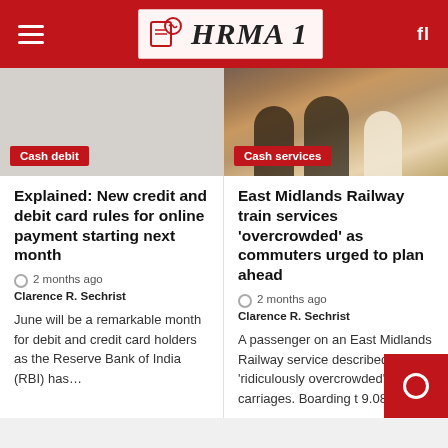HRMA 1
[Figure (photo): Gray placeholder image for Cash debit article]
Cash debit
[Figure (photo): Photo of passengers on East Midlands Railway train, people seated in red seats viewed from behind]
Cash services
Explained: New credit and debit card rules for online payment starting next month
2 months ago  Clarence R. Sechrist
June will be a remarkable month for debit and credit card holders as the Reserve Bank of India (RBI) has…
East Midlands Railway train services 'overcrowded' as commuters urged to plan ahead
2 months ago  Clarence R. Sechrist
A passenger on an East Midlands Railway service described it as 'ridiculously overcrowded' with ju carriages. Boarding t 9.08am…